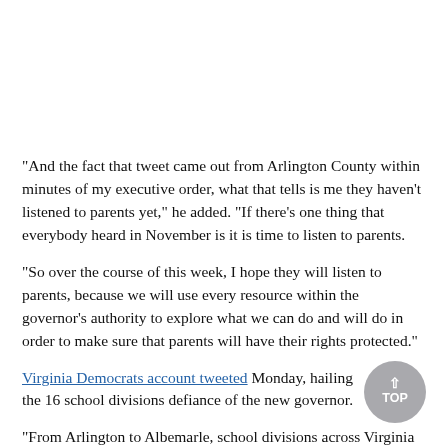"And the fact that tweet came out from Arlington County within minutes of my executive order, what that tells is me they haven't listened to parents yet," he added. "If there's one thing that everybody heard in November is it is time to listen to parents.
"So over the course of this week, I hope they will listen to parents, because we will use every resource within the governor's authority to explore what we can do and will do in order to make sure that parents will have their rights protected."
Virginia Democrats account tweeted Monday, hailing the 16 school divisions defiance of the new governor.
"From Arlington to Albemarle, school divisions across Virginia are rejecting Glenn Youngkin's dangerous anti-science executive action and keeping mask requirements in schools to ensure the health and safety of K-12 students in the Commonwealth," the